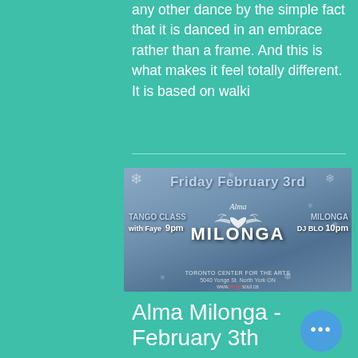any other dance by the simple fact that it is danced in an embrace rather than a frame. And this is what makes it feel totally different. It is based on walki
[Figure (illustration): Event poster for Alma Milonga on Friday February 3rd. Shows a wintry blue bokeh background with snowflakes. Text reads: Friday February 3rd, Alma Milonga (with decorative script and heart with wings logo). Left side: TANGO CLASS with Faye 9pm. Right side: MILONGA DJ BLO 10pm. Bottom: TORONTO CENTER FOR THE ARTS, 5040 Yonge St. North York ON, www.tangosoul.ca]
Alma Milonga - February 3th